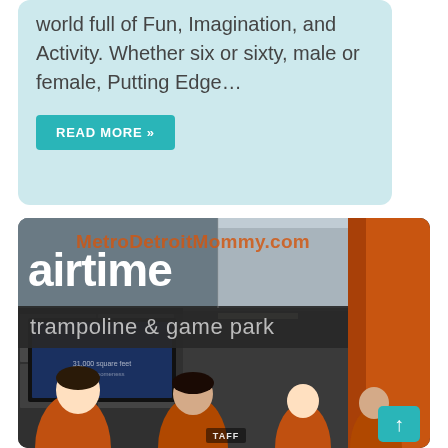world full of Fun, Imagination, and Activity. Whether six or sixty, male or female, Putting Edge...
READ MORE »
[Figure (photo): Photo of Airtime trampoline & game park entrance/lobby area. Shows storefront signage reading 'airtime' in large white letters and 'trampoline & game park' on a dark banner. Staff members in orange shirts visible at bottom, MetroDetroitMommy.com watermark overlay on top portion. TV screens visible on left wall.]